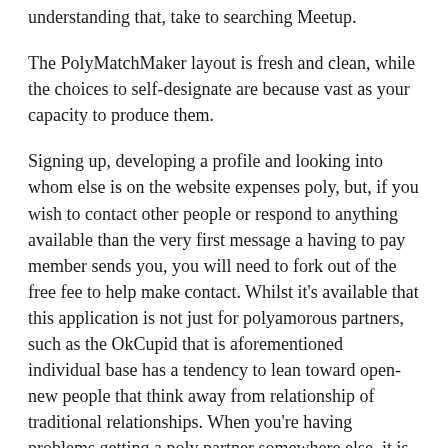understanding that, take to searching Meetup.
The PolyMatchMaker layout is fresh and clean, while the choices to self-designate are because vast as your capacity to produce them.
Signing up, developing a profile and looking into whom else is on the website expenses poly, but, if you wish to contact other people or respond to anything available than the very first message a having to pay member sends you, you will need to fork out of the free fee to help make contact. Whilst it's available that this application is not just for polyamorous partners, such as the OkCupid that is aforementioned individual base has a tendency to lean toward open-new people that think away from relationship of traditional relationships. When you're having problems getting a poly partner somewhere else, it is absolutely new it to provide POF an attempt.